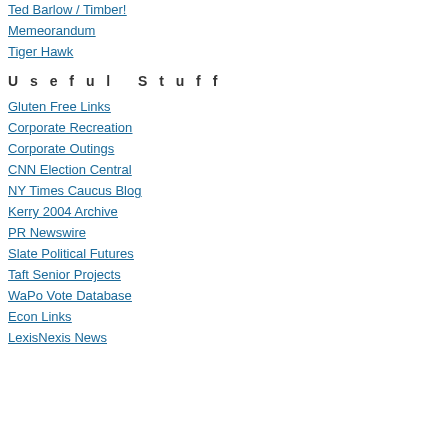Ted Barlow / Timber!
Memeorandum
Tiger Hawk
U s e f u l   S t u f f
Gluten Free Links
Corporate Recreation
Corporate Outings
CNN Election Central
NY Times Caucus Blog
Kerry 2004 Archive
PR Newswire
Slate Political Futures
Taft Senior Projects
WaPo Vote Database
Econ Links
LexisNexis News
[Figure (illustration): Orange square with white geometric line pattern]
That's good stuff, Ap, and I se It's little known because the h the work of thousands of scie by about 50 scientists, and th than 10. And look what we go =============================
[Figure (illustration): Green square with white spiral/sunburst pattern]
Truth Commission? We are b OK, you want a Truth Commi individuals who prepared tha concluding that the Persians Then the Truth Commission d ties with leftist tyrannies. And flourish by examining the det
Posted b
[Figure (illustration): Orange square with white geometric line pattern]
By all means, let more Ameri Coast city, that probably mea one of them. America's desire nearly endless. I may stay aw